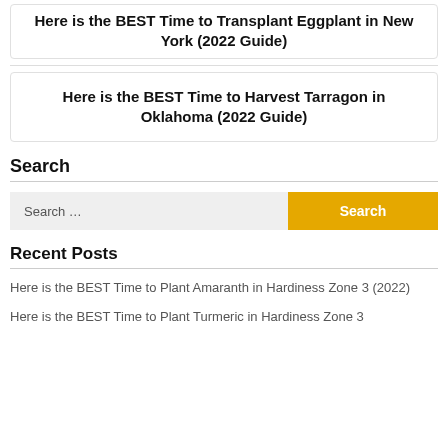Here is the BEST Time to Transplant Eggplant in New York (2022 Guide)
Here is the BEST Time to Harvest Tarragon in Oklahoma (2022 Guide)
Search
Search …
Recent Posts
Here is the BEST Time to Plant Amaranth in Hardiness Zone 3 (2022)
Here is the BEST Time to Plant Turmeric in Hardiness Zone 3